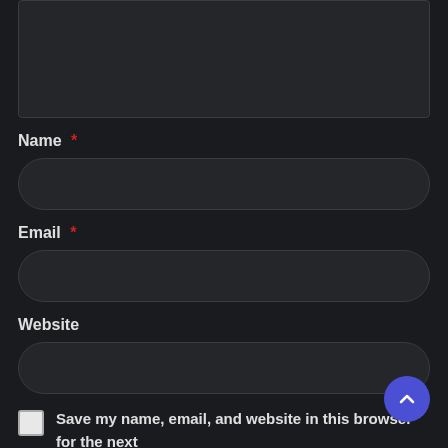[Figure (screenshot): Dark-themed web comment form partial view showing a textarea at top, followed by Name, Email, and Website input fields with rounded borders, a checkbox for saving browser data, and a scroll-to-top button.]
Name *
Email *
Website
Save my name, email, and website in this browser for the next time I comment.